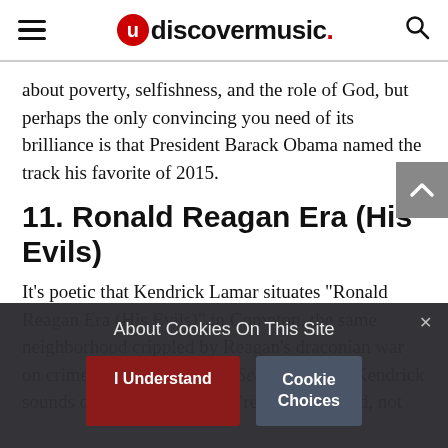uDiscover Music
about poverty, selfishness, and the role of God, but perhaps the only convincing you need of its brilliance is that President Barack Obama named the track his favorite of 2015.
11. Ronald Reagan Era (His Evils)
It’s poetic that Kendrick Lamar situates “Ronald Reagan Era (His Evils)” in Compton, the same neighborhood crippled by Reagan’s draconian war on crime. But on the catchy Section.80 cut, Kendrick sounds defiant, singing, “We’re far from good, not
About Cookies On This Site
I Understand
Cookie Choices